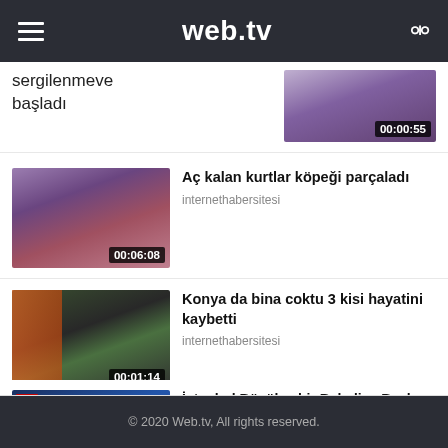web.tv
sergilenmeve başladı 00:00:55
[Figure (photo): Video thumbnail showing wolves, duration 00:06:08]
Aç kalan kurtlar köpeği parçaladı
internethabersitesi
[Figure (photo): Video thumbnail showing building collapse scene, duration 00:01:14]
Konya da bina coktu 3 kisi hayatini kaybetti
internethabersitesi
[Figure (photo): Video thumbnail showing FOX TV interview with Istanbul mayor, duration 00:01:29]
İstanbul Büyükşehir Belediye Başkanı @ekrem_imamoglu FOX'ta @Kucukkayaİsmail ile ÇalarSaat canlı yayın konuğu!
internethabersitesi
© 2020 Web.tv, All rights reserved.